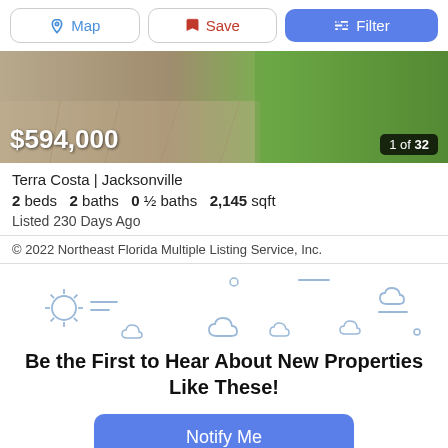[Figure (screenshot): Top toolbar with Map, Save, and Filter buttons]
[Figure (photo): Property listing hero image showing paved walkway and green grass lawn]
$594,000
1 of 32
Terra Costa | Jacksonville
2 beds  2 baths  0 ½ baths  2,145 sqft
Listed 230 Days Ago
© 2022 Northeast Florida Multiple Listing Service, Inc.
[Figure (illustration): Weather icon illustrations (sun, clouds) as decorative background]
Be the First to Hear About New Properties Like These!
Notify Me